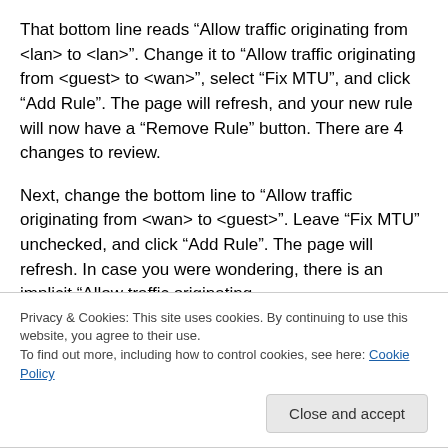That bottom line reads “Allow traffic originating from <lan> to <lan>”. Change it to “Allow traffic originating from <guest> to <wan>”, select “Fix MTU”, and click “Add Rule”. The page will refresh, and your new rule will now have a “Remove Rule” button. There are 4 changes to review.
Next, change the bottom line to “Allow traffic originating from <wan> to <guest>”. Leave “Fix MTU” unchecked, and click “Add Rule”. The page will refresh. In case you were wondering, there is an implicit “Allow traffic originating...
Privacy & Cookies: This site uses cookies. By continuing to use this website, you agree to their use.
To find out more, including how to control cookies, see here: Cookie Policy